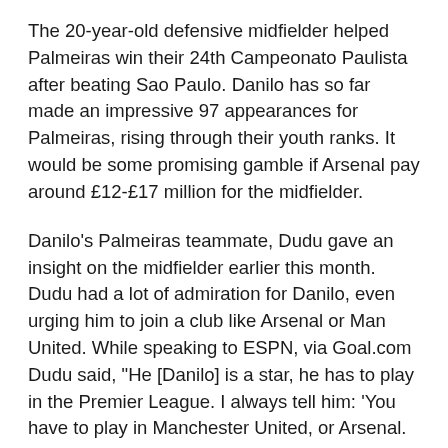The 20-year-old defensive midfielder helped Palmeiras win their 24th Campeonato Paulista after beating Sao Paulo. Danilo has so far made an impressive 97 appearances for Palmeiras, rising through their youth ranks. It would be some promising gamble if Arsenal pay around £12-£17 million for the midfielder.
Danilo's Palmeiras teammate, Dudu gave an insight on the midfielder earlier this month. Dudu had a lot of admiration for Danilo, even urging him to join a club like Arsenal or Man United. While speaking to ESPN, via Goal.com Dudu said, "He [Danilo] is a star, he has to play in the Premier League. I always tell him: 'You have to play in Manchester United, or Arsenal. Dudu further continued, labelling the Arsenal target a 'complete midfielder'. "